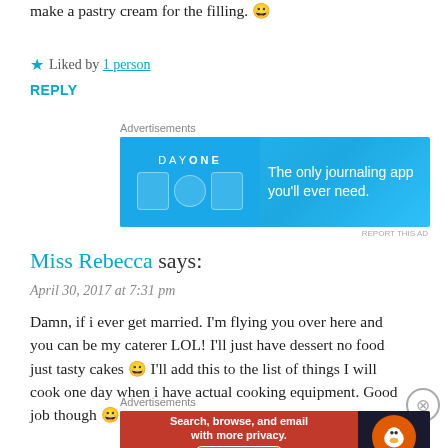make a pastry cream for the filling. 😀
★ Liked by 1 person
REPLY
[Figure (screenshot): DayOne journaling app advertisement: blue banner with icons and text 'The only journaling app you'll ever need.']
Miss Rebecca says:
April 30, 2017 at 7:31 pm
Damn, if i ever get married. I'm flying you over here and you can be my caterer LOL! I'll just have dessert no food just tasty cakes 😀 I'll add this to the list of things I will cook one day when i have actual cooking equipment. Good job though 😀
[Figure (screenshot): DuckDuckGo advertisement: 'Search, browse, and email with more privacy. All in One Free App']